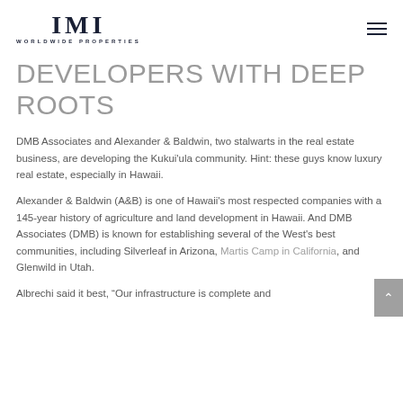[Figure (logo): IMI Worldwide Properties logo with large serif IMI text and smaller subtitle text]
DEVELOPERS WITH DEEP ROOTS
DMB Associates and Alexander & Baldwin, two stalwarts in the real estate business, are developing the Kukui'ula community. Hint: these guys know luxury real estate, especially in Hawaii.
Alexander & Baldwin (A&B) is one of Hawaii's most respected companies with a 145-year history of agriculture and land development in Hawaii. And DMB Associates (DMB) is known for establishing several of the West's best communities, including Silverleaf in Arizona, Martis Camp in California, and Glenwild in Utah.
Albrechi said it best, “Our infrastructure is complete and